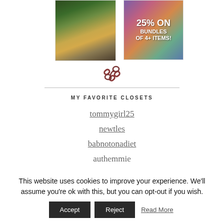[Figure (photo): Landscape photo showing rolling hills with golden grass and evergreen trees]
[Figure (illustration): Promotional banner showing '25% ON BUNDLES OF 4+ ITEMS!' with colorful patterned background]
[Figure (other): Chain link icon in dark reddish-brown color]
MY FAVORITE CLOSETS
tommygirl25
newtles
babnotonadiet
authemmie
This website uses cookies to improve your experience. We'll assume you're ok with this, but you can opt-out if you wish.